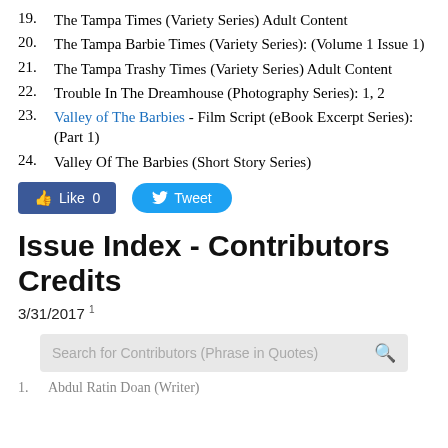19. The Tampa Times (Variety Series) Adult Content
20. The Tampa Barbie Times (Variety Series): (Volume 1 Issue 1)
21. The Tampa Trashy Times (Variety Series) Adult Content
22. Trouble In The Dreamhouse (Photography Series): 1, 2
23. Valley of The Barbies - Film Script (eBook Excerpt Series): (Part 1)
24. Valley Of The Barbies (Short Story Series)
[Figure (other): Facebook Like button (0 likes) and Twitter Tweet button]
Issue Index - Contributors Credits
3/31/2017
[Figure (other): Search bar with placeholder text 'Search for Contributors (Phrase in Quotes)' and a search icon]
1. Abdul Ratin Doan (Writer)